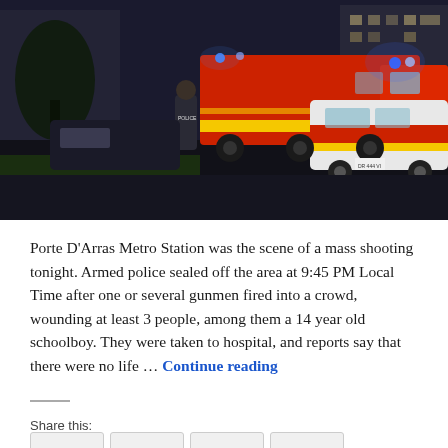[Figure (photo): Night scene showing French emergency vehicles including a red fire truck and a white SUV with yellow-and-red reflective markings, a police officer standing in the foreground, buildings visible in background with blue lights]
Porte D'Arras Metro Station was the scene of a mass shooting tonight. Armed police sealed off the area at 9:45 PM Local Time after one or several gunmen fired into a crowd, wounding at least 3 people, among them a 14 year old schoolboy. They were taken to hospital, and reports say that there were no life … Continue reading
Share this: